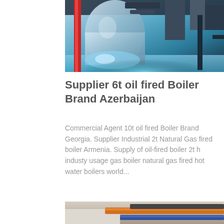[Figure (photo): Industrial boiler/machinery equipment in a factory setting with blue-tinted lighting, pipes and ducts visible]
Supplier 6t oil fired Boiler Brand Azerbaijan
Commercial Agent 10t oil fired Boiler Brand Georgia. Supplier Industrial 2t Natural Gas fired boiler Armenia. Supply of oil-fired boiler 2t h industy usage gas boiler natural gas fired hot water boilers world...
Get Price
WhatsApp
[Figure (photo): Industrial pipes and boiler equipment, partially visible at bottom of page]